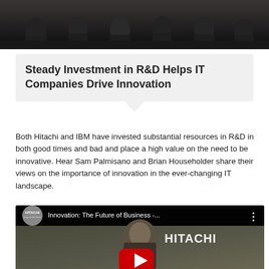[Figure (photo): Dark photo showing silhouettes of people seated at a table or panel, with a dark background.]
Steady Investment in R&D Helps IT Companies Drive Innovation
Both Hitachi and IBM have invested substantial resources in R&D in both good times and bad and place a high value on the need to be innovative. Hear Sam Palmisano and Brian Householder share their views on the importance of innovation in the ever-changing IT landscape.
[Figure (screenshot): YouTube video thumbnail showing a Hitachi-branded video titled 'Innovation: The Future of Business -...' featuring a man in a suit with the Hitachi logo and a YouTube play button overlay.]